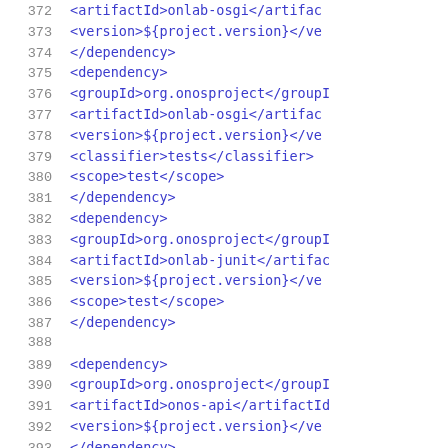[Figure (screenshot): Source code viewer showing XML/Maven POM file lines 372-393 with line numbers on the left and XML code in blue monospace font on the right. Content includes dependency blocks with groupId, artifactId, version, classifier, and scope tags for org.onosproject artifacts including onlab-osgi, onlab-junit, and onos-api.]